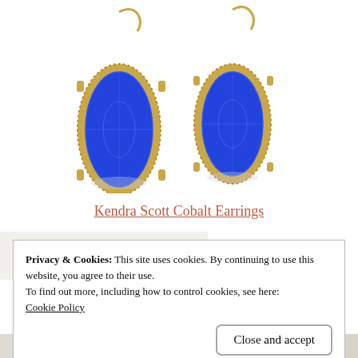[Figure (photo): Two cobalt blue and gold Kendra Scott drop earrings on white background]
Kendra Scott Cobalt Earrings
Privacy & Cookies: This site uses cookies. By continuing to use this website, you agree to their use.
To find out more, including how to control cookies, see here: Cookie Policy
Close and accept